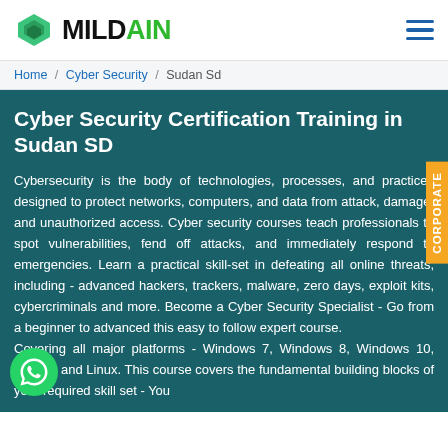MILDAIN
Home / Cyber Security / Sudan Sd
Cyber Security Certification Training in Sudan SD
Cybersecurity is the body of technologies, processes, and practices designed to protect networks, computers, and data from attack, damage, and unauthorized access. Cyber security courses teach professionals to spot vulnerabilities, fend off attacks, and immediately respond to emergencies. Learn a practical skill-set in defeating all online threats, including - advanced hackers, trackers, malware, zero days, exploit kits, cybercriminals and more. Become a Cyber Security Specialist - Go from a beginner to advanced this easy to follow expert course.
Covering all major platforms - Windows 7, Windows 8, Windows 10, MacOS and Linux. This course covers the fundamental building blocks of your required skill set - You